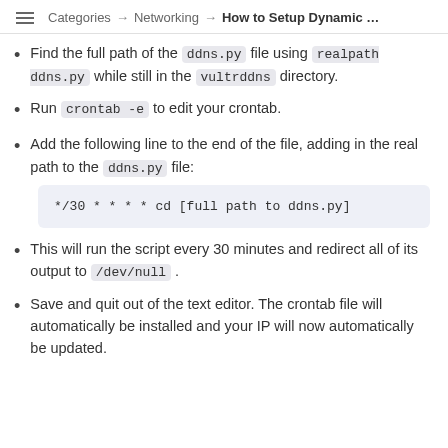Categories → Networking → How to Setup Dynamic …
Find the full path of the ddns.py file using realpath ddns.py while still in the vultrddns directory.
Run crontab -e to edit your crontab.
Add the following line to the end of the file, adding in the real path to the ddns.py file:
*/30 * * * * cd [full path to ddns.py]
This will run the script every 30 minutes and redirect all of its output to /dev/null .
Save and quit out of the text editor. The crontab file will automatically be installed and your IP will now automatically be updated.